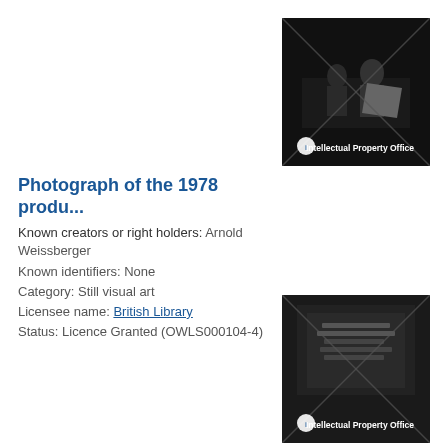[Figure (photo): Thumbnail photograph showing people at a table in a dark setting, with Intellectual Property Office watermark/logo overlay and diagonal X lines across the image.]
Photograph of the 1978 produ...
Known creators or right holders: Arnold Weissberger
Known identifiers: None
Category: Still visual art
Licensee name: British Library
Status: Licence Granted (OWLS000104-4)
[Figure (photo): Thumbnail photograph showing a building exterior/sign with text, with Intellectual Property Office watermark/logo overlay and diagonal X lines across the image.]